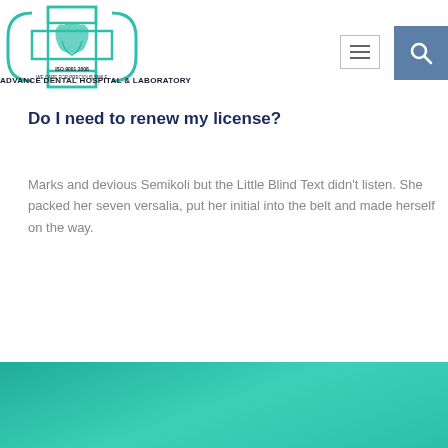[Figure (logo): Advance Dental Hospital & Laboratory logo with teal cross symbol, tooth and hands, ISO 9001:2008 certification mark, tagline WE CARE FOR PRECIOUS SMILE]
ADVANCE DENTAL HOSPITAL & LABORATORY
Do I need to renew my license?
Marks and devious Semikoli but the Little Blind Text didn't listen. She packed her seven versalia, put her initial into the belt and made herself on the way.